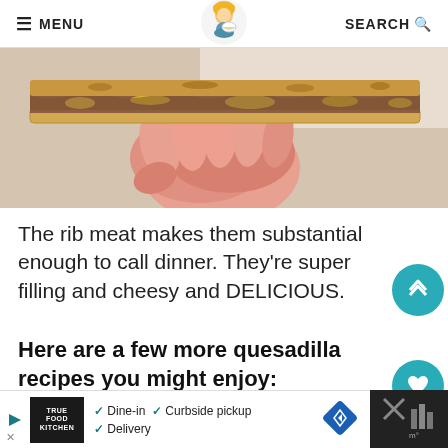≡ MENU   [logo]   SEARCH 🔍
[Figure (photo): A hand holding a quesadilla slice, showing melted cheese and rib meat filling, close-up food photography.]
The rib meat makes them substantial enough to call dinner.  They're super filling and cheesy and DELICIOUS.
Here are a few more quesadilla recipes you might enjoy:
Breakfast Quesadillas
Mango Chili Quesadillas